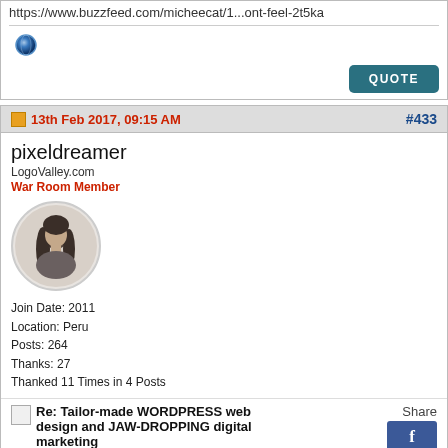https://www.buzzfeed.com/micheecat/1...ont-feel-2t5ka
13th Feb 2017, 09:15 AM
#433
pixeldreamer
LogoValley.com
War Room Member
[Figure (photo): Profile photo of user pixeldreamer, showing a woman with long dark hair in a circular avatar frame]
Join Date: 2011
Location: Peru
Posts: 264
Thanks: 27
Thanked 11 Times in 4 Posts
Re: Tailor-made WORDPRESS web design and JAW-DROPPING digital marketing